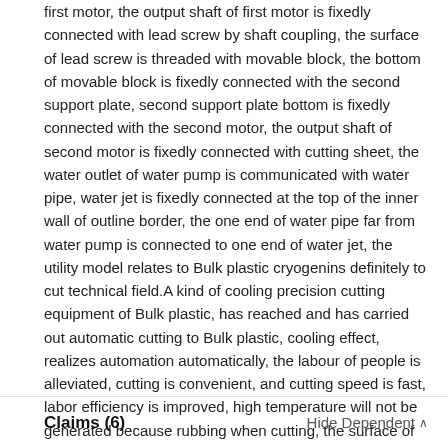first motor, the output shaft of first motor is fixedly connected with lead screw by shaft coupling, the surface of lead screw is threaded with movable block, the bottom of movable block is fixedly connected with the second support plate, second support plate bottom is fixedly connected with the second motor, the output shaft of second motor is fixedly connected with cutting sheet, the water outlet of water pump is communicated with water pipe, water jet is fixedly connected at the top of the inner wall of outline border, the one end of water pipe far from water pump is connected to one end of water jet, the utility model relates to Bulk plastic cryogenins definitely to cut technical field.A kind of cooling precision cutting equipment of Bulk plastic, has reached and has carried out automatic cutting to Bulk plastic, cooling effect, realizes automation automatically, the labour of people is alleviated, cutting is convenient, and cutting speed is fast, labor efficiency is improved, high temperature will not be generated because rubbing when cutting, the surface of plastics is scalded.
Claims (6)
Hide Dependent